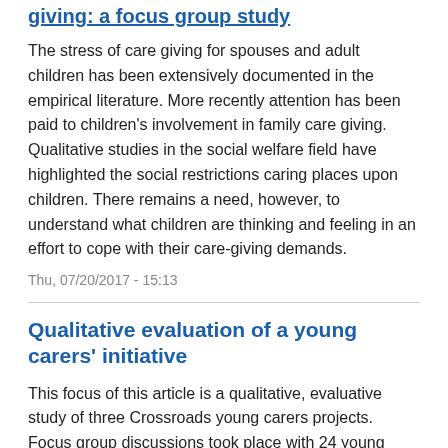giving: a focus group study
The stress of care giving for spouses and adult children has been extensively documented in the empirical literature. More recently attention has been paid to children's involvement in family care giving. Qualitative studies in the social welfare field have highlighted the social restrictions caring places upon children. There remains a need, however, to understand what children are thinking and feeling in an effort to cope with their care-giving demands.
Thu, 07/20/2017 - 15:13
Qualitative evaluation of a young carers' initiative
This focus of this article is a qualitative, evaluative study of three Crossroads young carers projects. Focus group discussions took place with 24 young people aged 11-16 years. Data were analysed using a thematic content analysis approach. The themes of the research were: experiences of being a young carer, peer support, opportunities for time out, and use of the initiative. The research...